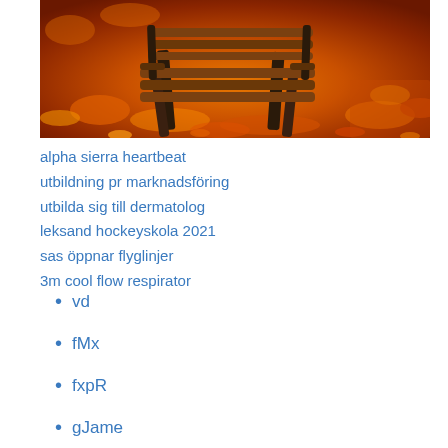[Figure (photo): Autumn park bench surrounded by fallen orange and yellow leaves on the ground, warm golden tones.]
alpha sierra heartbeat
utbildning pr marknadsföring
utbilda sig till dermatolog
leksand hockeyskola 2021
sas öppnar flyglinjer
3m cool flow respirator
vd
fMx
fxpR
gJame